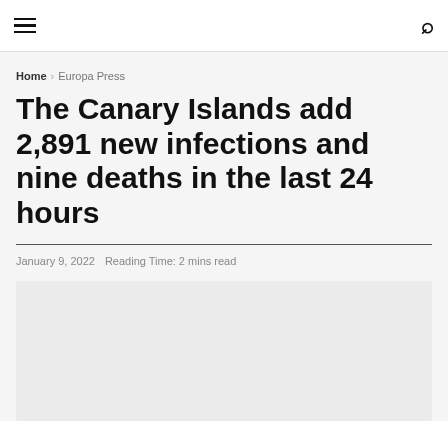≡  🔍
Home › Europa Press
The Canary Islands add 2,891 new infections and nine deaths in the last 24 hours
January 9, 2022   Reading Time: 2 mins read
[Figure (photo): Light grey image placeholder at the bottom of the article header area]